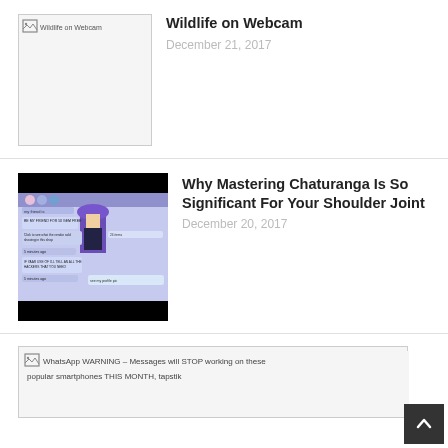[Figure (screenshot): Broken image placeholder for Wildlife on Webcam article thumbnail]
Wildlife on Webcam
December 21, 2017
[Figure (screenshot): Chat interface screenshot with animated character in purple hat, dark background top and bottom]
Why Mastering Chaturanga Is So Significant For Your Shoulder Joint
December 20, 2017
[Figure (screenshot): Broken image placeholder for WhatsApp WARNING article thumbnail with alt text visible]
WhatsApp WARNING – Messages will STOP working on these popular smartphones THIS MONTH, tapstik